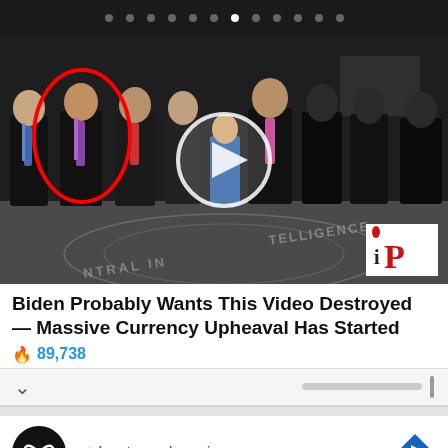[Figure (photo): Group of people in suits standing in CIA headquarters lobby with the CIA seal on the floor. One person on the left is circled in red. A video play button overlay is in the center. An 'iP' logo badge is in the bottom right corner.]
Biden Probably Wants This Video Destroyed — Massive Currency Upheaval Has Started
🔥 89,738
In-store shopping